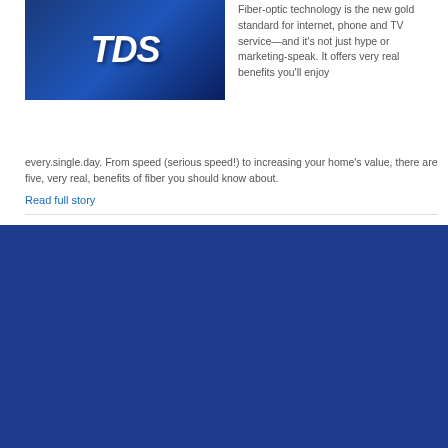[Figure (logo): TDS logo on blue gradient background]
Fiber-optic technology is the new gold standard for internet, phone and TV service—and it's not just hype or marketing-speak. It offers very real benefits you'll enjoy every.single.day. From speed (serious speed!) to increasing your home's value, there are five, very real, benefits of fiber you should know about.
Read full story
When visiting the TDS® website, cookies may be placed on your device to customize your experience. Cookies may collect personal information and may share that information with third parties. By clicking "Accept All Cookies", you agree to the storage of cookies on your device and related sharing. Please read our Cookie Notice to learn more.
Modify Cookie Settings
Accept All Cookies